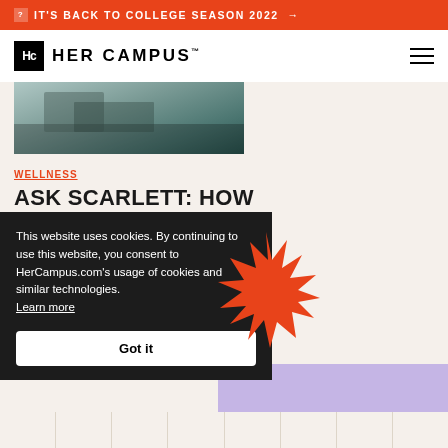IT'S BACK TO COLLEGE SEASON 2022 →
[Figure (logo): Her Campus logo with Hc icon and wordmark]
[Figure (photo): Article thumbnail image showing a student studying with books and laptop]
WELLNESS
ASK SCARLETT: HOW TO PREPARE FOR GRAD SCHOOL EXAMS
READ MORE →
This website uses cookies. By continuing to use this website, you consent to HerCampus.com's usage of cookies and similar technologies. Learn more
Got it